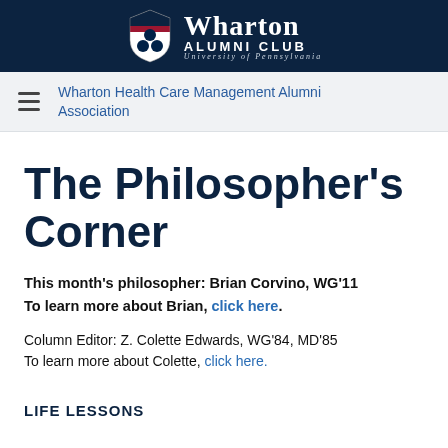Wharton Alumni Club — University of Pennsylvania
Wharton Health Care Management Alumni Association
The Philosopher's Corner
This month's philosopher: Brian Corvino, WG'11
To learn more about Brian, click here.
Column Editor: Z. Colette Edwards, WG'84, MD'85
To learn more about Colette, click here.
LIFE LESSONS